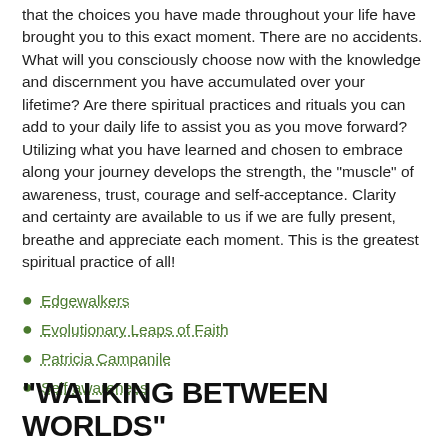that the choices you have made throughout your life have brought you to this exact moment. There are no accidents. What will you consciously choose now with the knowledge and discernment you have accumulated over your lifetime? Are there spiritual practices and rituals you can add to your daily life to assist you as you move forward? Utilizing what you have learned and chosen to embrace along your journey develops the strength, the "muscle" of awareness, trust, courage and self-acceptance. Clarity and certainty are available to us if we are fully present, breathe and appreciate each moment. This is the greatest spiritual practice of all!
Edgewalkers
Evolutionary Leaps of Faith
Patricia Campanile
Self-awareness
"WALKING BETWEEN WORLDS"